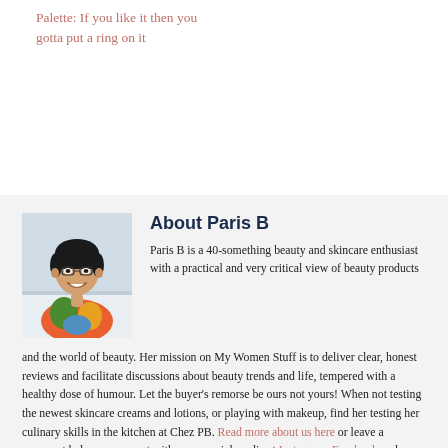Palette: If you like it then you gotta put a ring on it
[Figure (photo): Portrait photo of Paris B, a woman with short dark hair, smiling, wearing a colorful floral top]
About Paris B
Paris B is a 40-something beauty and skincare enthusiast with a practical and very critical view of beauty products and the world of beauty. Her mission on My Women Stuff is to deliver clear, honest reviews and facilitate discussions about beauty trends and life, tempered with a healthy dose of humour. Let the buyer’s remorse be ours not yours! When not testing the newest skincare creams and lotions, or playing with makeup, find her testing her culinary skills in the kitchen at Chez PB. Read more about us here or leave a comment below or connect with us on social media at Instagram, Facebook and Twitter!